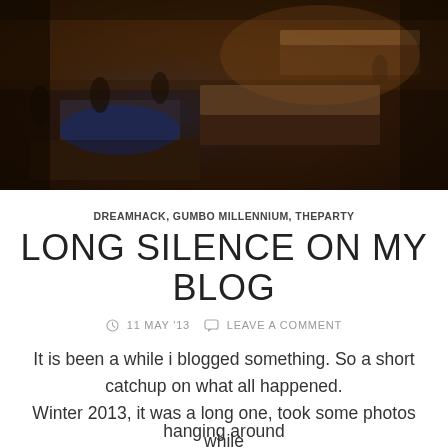[Figure (photo): Aerial/overhead view of a large indoor event space, possibly a gaming event or convention (DreamHack), with people seated at tables with glowing screens, shot in dark warm tones with blue lighting accents]
DREAMHACK, GUMBO MILLENNIUM, THEPARTY
LONG SILENCE ON MY BLOG
⊙ 11 MAY '13   💬 LEAVE A COMMENT
It is been a while i blogged something. So a short catchup on what all happened.
Winter 2013, it was a long one, took some photos while
hanging around